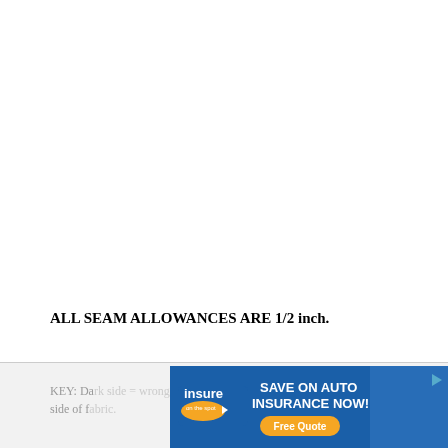ALL SEAM ALLOWANCES ARE 1/2 inch.
STEP ONE: Sew waistband.
KEY: Da... right side of f...